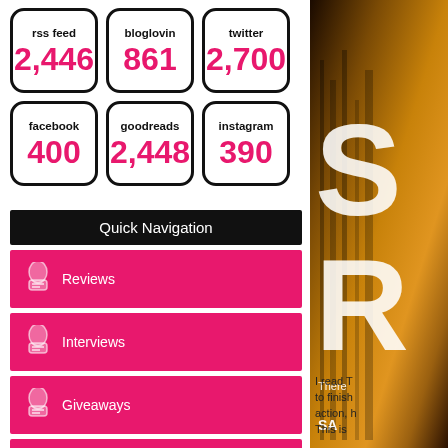[Figure (infographic): Social media follower counts displayed in rounded-rectangle boxes: rss feed 2,446; bloglovin 861; twitter 2,700; facebook 400; goodreads 2,448; instagram 390]
Quick Navigation
Reviews
Interviews
Giveaways
Book Hauls
[Figure (photo): Book cover with orange/gold cityscape background, large letters S and R visible, text 'There' and author name 'SA' partially visible]
I read T... to finish... action, h... This is...